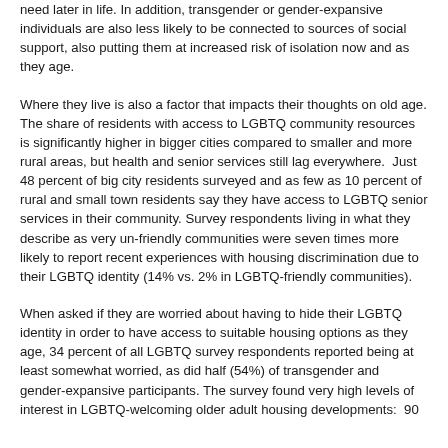need later in life. In addition, transgender or gender-expansive individuals are also less likely to be connected to sources of social support, also putting them at increased risk of isolation now and as they age.
Where they live is also a factor that impacts their thoughts on old age. The share of residents with access to LGBTQ community resources is significantly higher in bigger cities compared to smaller and more rural areas, but health and senior services still lag everywhere.  Just 48 percent of big city residents surveyed and as few as 10 percent of rural and small town residents say they have access to LGBTQ senior services in their community. Survey respondents living in what they describe as very un-friendly communities were seven times more likely to report recent experiences with housing discrimination due to their LGBTQ identity (14% vs. 2% in LGBTQ-friendly communities).
When asked if they are worried about having to hide their LGBTQ identity in order to have access to suitable housing options as they age, 34 percent of all LGBTQ survey respondents reported being at least somewhat worried, as did half (54%) of transgender and gender-expansive participants. The survey found very high levels of interest in LGBTQ-welcoming older adult housing developments:  90